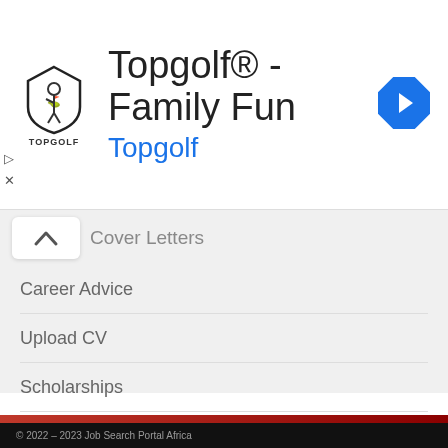[Figure (screenshot): Topgolf advertisement banner with logo, title 'Topgolf® - Family Fun', subtitle 'Topgolf' in blue, and a blue diamond navigation arrow icon on the right.]
Cover Letters
Career Advice
Upload CV
Scholarships
SIMILAR JOB SITES
BrighterMonday
Job Gurus
Career24
Jobs In Nigeria
Jobs In Ghana
© 2022 – 2023 Job Search Portal Africa, South Africa